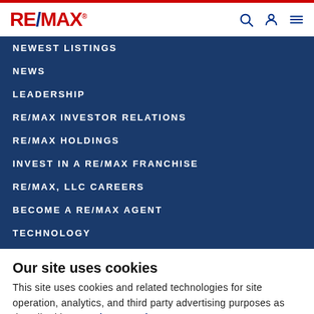RE/MAX
NEWEST LISTINGS
NEWS
LEADERSHIP
RE/MAX INVESTOR RELATIONS
RE/MAX HOLDINGS
INVEST IN A RE/MAX FRANCHISE
RE/MAX, LLC CAREERS
BECOME A RE/MAX AGENT
TECHNOLOGY
Our site uses cookies
This site uses cookies and related technologies for site operation, analytics, and third party advertising purposes as described in our Privacy Notice .
ACCEPT